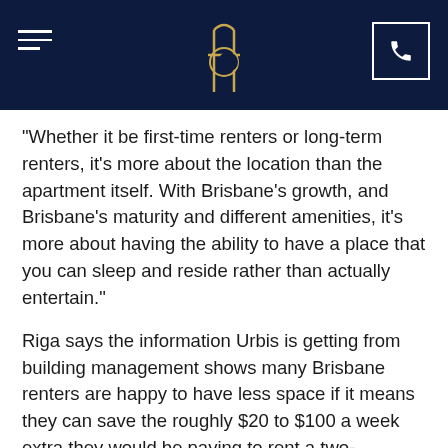Header navigation bar with logo, hamburger menu, and phone button
"Whether it be first-time renters or long-term renters, it's more about the location than the apartment itself. With Brisbane's growth, and Brisbane's maturity and different amenities, it's more about having the ability to have a place that you can sleep and reside rather than actually entertain."
Riga says the information Urbis is getting from building management shows many Brisbane renters are happy to have less space if it means they can save the roughly $20 to $100 a week extra they would be paying to rent a two-bedroom apartment.
He's also quick to point out that these numbers are relative to the total number of units of that type in the market. There is overall less one-bedroom apartment stock currently available to rent